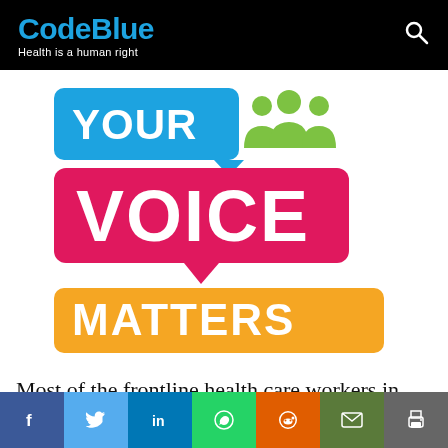CodeBlue — Health is a human right
[Figure (logo): Your Voice Matters logo with speech bubble design: blue bubble with YOUR, pink/magenta bubble with VOICE MATTERS, yellow/gold bubble with MATTERS, and green group-of-people icon at top right]
Most of the frontline health care workers in
Social share buttons: Facebook, Twitter, LinkedIn, WhatsApp, Reddit, Email, Print